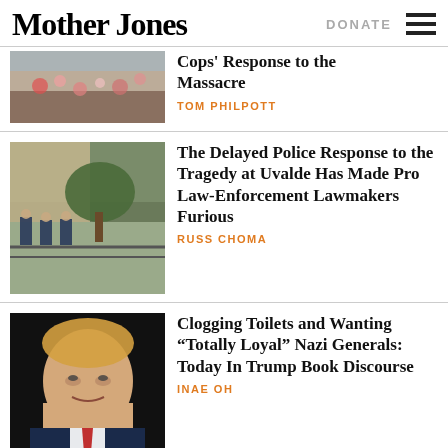Mother Jones | DONATE
Cops' Response to the Massacre
TOM PHILPOTT
The Delayed Police Response to the Tragedy at Uvalde Has Made Pro Law-Enforcement Lawmakers Furious
RUSS CHOMA
Clogging Toilets and Wanting “Totally Loyal” Nazi Generals: Today In Trump Book Discourse
INAE OH